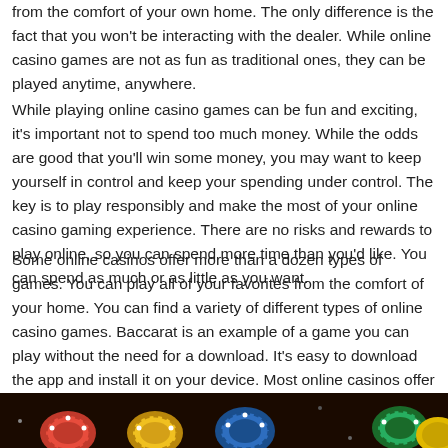from the comfort of your own home. The only difference is the fact that you won't be interacting with the dealer. While online casino games are not as fun as traditional ones, they can be played anytime, anywhere.
While playing online casino games can be fun and exciting, it's important not to spend too much money. While the odds are good that you'll win some money, you may want to keep yourself in control and keep your spending under control. The key is to play responsibly and make the most of your online casino gaming experience. There are no risks and rewards to play online, so you can spend more time than you'd like. You can spend as much or as little as you want.
Some online casinos offer more than a dozen types of games. You can play all of your favorites from the comfort of your home. You can find a variety of different types of online casino games. Baccarat is an example of a game you can play without the need for a download. It's easy to download the app and install it on your device. Most online casinos offer a range of options, so you can choose which one suits you best.
[Figure (photo): Colorful casino chips scattered on a dark background, including red, blue, yellow, green, and white chips.]